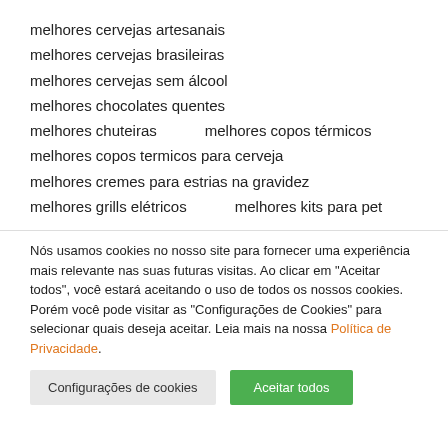melhores cervejas artesanais
melhores cervejas brasileiras
melhores cervejas sem álcool
melhores chocolates quentes
melhores chuteiras    melhores copos térmicos
melhores copos termicos para cerveja
melhores cremes para estrias na gravidez
melhores grills elétricos    melhores kits para pet
Nós usamos cookies no nosso site para fornecer uma experiência mais relevante nas suas futuras visitas. Ao clicar em "Aceitar todos", você estará aceitando o uso de todos os nossos cookies. Porém você pode visitar as "Configurações de Cookies" para selecionar quais deseja aceitar. Leia mais na nossa Política de Privacidade.
Configurações de cookies | Aceitar todos